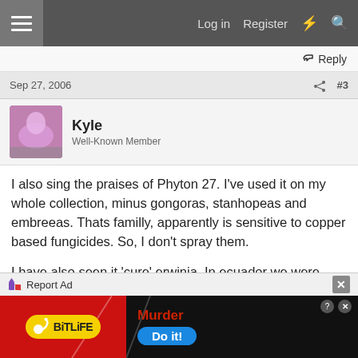Log in  Register
Reply
Sep 27, 2006  #3
Kyle
Well-Known Member
I also sing the praises of Phyton 27. I've used it on my whole collection, minus gongoras, stanhopeas and embreeas. Thats familly, apparently is sensitive to copper based fungicides. So, I don't spray them.

I have also seen it 'cure' erwinia. In ecuador we were able to save some big phrag dalessandroi with weekly sprayings of 2 ml per liter of pyton. We also got the following bosspaes to recover.
[Figure (screenshot): BitLife advertisement banner with red background, yellow BitLife logo, murder text, and Do it! blue button]